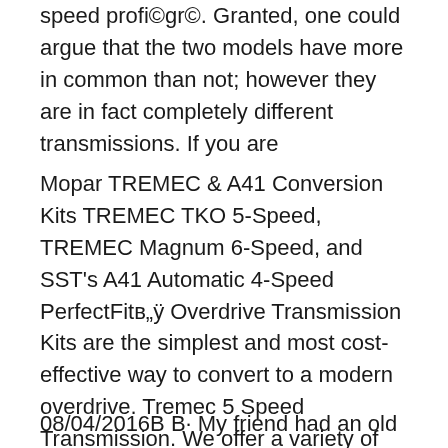speed profi©gr©. Granted, one could argue that the two models have more in common than not; however they are in fact completely different transmissions. If you are
Mopar TREMEC & A41 Conversion Kits TREMEC TKO 5-Speed, TREMEC Magnum 6-Speed, and SST's A41 Automatic 4-Speed PerfectFitв„ÿ Overdrive Transmission Kits are the simplest and most cost-effective way to convert to a modern overdrive. Tremec 5 Speed Transmission. We offer a variety of Tremec 5 Speed Transmission for your automotive needs. No matter what you're driving, we have the right Tremec 5 Speed Transmission for your vehicle
08/04/2016В В· My friend had an old Mustang